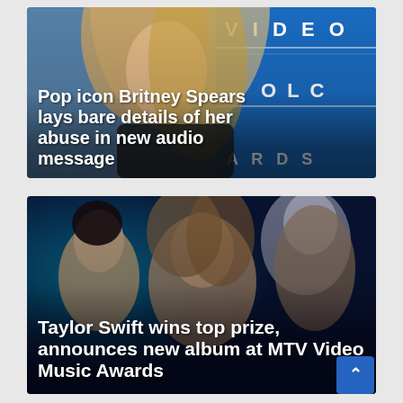[Figure (photo): Photo of Britney Spears at what appears to be the MTV Video Music Awards, standing in front of a blue MTV backdrop. She has long blonde hair and is wearing dark clothing.]
Pop icon Britney Spears lays bare details of her abuse in new audio message
[Figure (photo): Photo of Taylor Swift and friends accepting an award at the MTV Video Music Awards. Taylor Swift is in the center holding the award, surrounded by smiling group members against a dark blue stage background.]
Taylor Swift wins top prize, announces new album at MTV Video Music Awards